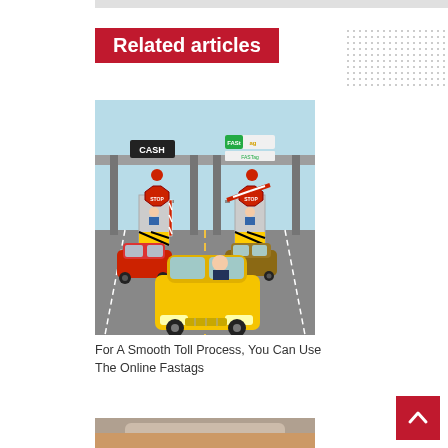Related articles
[Figure (illustration): Illustration of a toll plaza with cash and FASTag lanes. A yellow car is in the foreground approaching the toll, a red car and brown car are in the background. Toll booths show CASH and FASTag signage with red traffic lights and barrier gates.]
For A Smooth Toll Process, You Can Use The Online Fastags
[Figure (photo): Partial photo of the top of a car on a road, showing the roof and surroundings.]